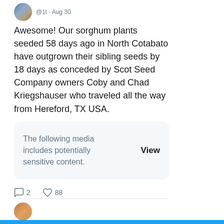[Figure (screenshot): Twitter/X post screenshot showing a tweet about sorghum plants with a sensitive media warning box and engagement metrics]
Awesome! Our sorghum plants seeded 58 days ago in North Cotabato have outgrown their sibling seeds by 18 days as conceded by Scot Seed Company owners Coby and Chad Kriegshauser who traveled all the way from Hereford, TX USA.
The following media includes potentially sensitive content.
View
2
88